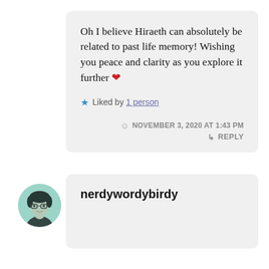Oh I believe Hiraeth can absolutely be related to past life memory! Wishing you peace and clarity as you explore it further ❤
★ Liked by 1 person
NOVEMBER 3, 2020 AT 1:43 PM
↳ REPLY
[Figure (photo): Circular avatar photo of a person with light skin and dark hair, with a teal/green tint overlay]
nerdywordybirdy